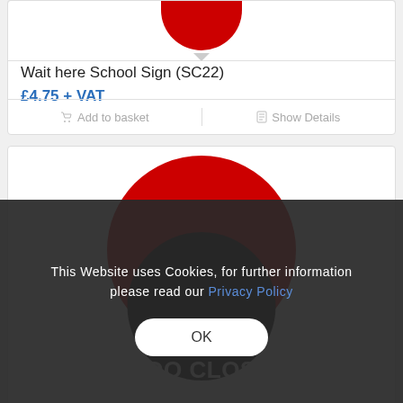[Figure (illustration): Red circle product image cropped at top, bottom half visible]
Wait here School Sign (SC22)
£4.75 + VAT
Add to basket | Show Details
[Figure (illustration): Red circle with dark center, school sign reading DON'T GET TOO CLOSE]
This Website uses Cookies, for further information please read our Privacy Policy
OK